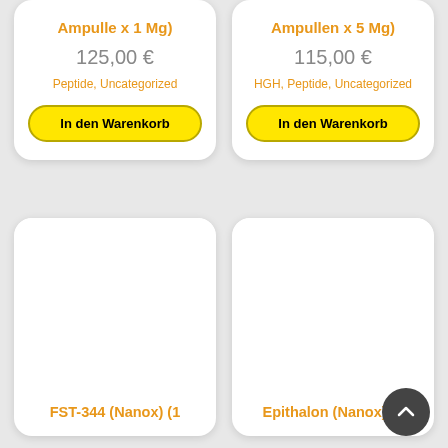Ampulle x 1 Mg)
125,00 €
Peptide, Uncategorized
In den Warenkorb
Ampullen x 5 Mg)
115,00 €
HGH, Peptide, Uncategorized
In den Warenkorb
[Figure (other): Product card placeholder image area - FST-344 (Nanox) (1]
FST-344 (Nanox) (1
[Figure (other): Product card placeholder image area - Epithalon (Nanox) (5]
Epithalon (Nanox) (5